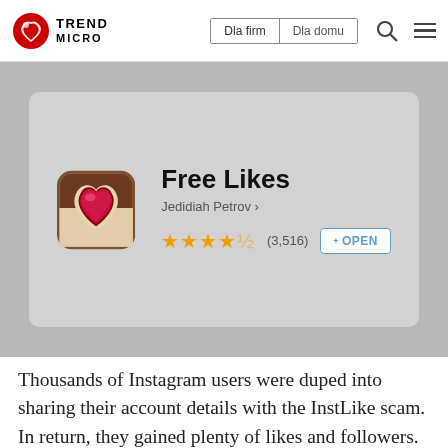TREND MICRO | Dla firm | Dla domu
[Figure (screenshot): App store listing for 'Free Likes' by Jedidiah Petrov, showing 4.5 star rating (3,516 reviews) and an OPEN button, with a heart/Instagram-style app icon]
Thousands of Instagram users were duped into sharing their account details with the InstLike scam. In return, they gained plenty of likes and followers. According to reports,